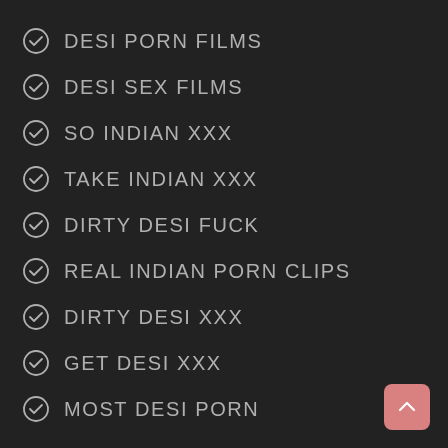DESI PORN FILMS
DESI SEX FILMS
SO INDIAN XXX
TAKE INDIAN XXX
DIRTY DESI FUCK
REAL INDIAN PORN CLIPS
DIRTY DESI XXX
GET DESI XXX
MOST DESI PORN